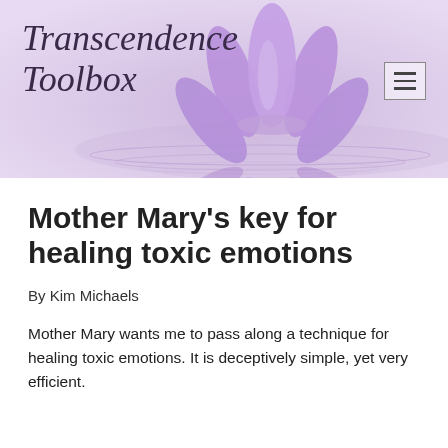[Figure (illustration): Purple lotus flower reflected in water on a lavender/purple gradient background, serving as the website header banner for Transcendence Toolbox]
Transcendence Toolbox
Mother Mary's key for healing toxic emotions
By Kim Michaels
Mother Mary wants me to pass along a technique for healing toxic emotions. It is deceptively simple, yet very efficient.